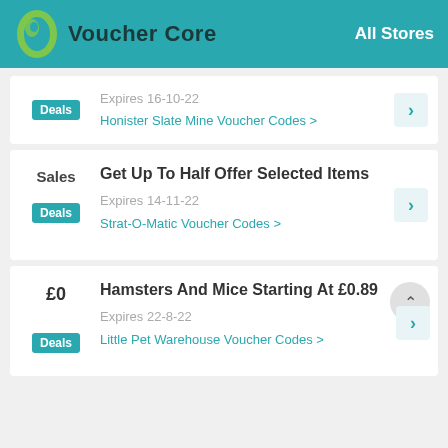Voucher Core — All Stores
Deals — Expires 16-10-22 — Honister Slate Mine Voucher Codes
Sales / Deals — Get Up To Half Offer Selected Items — Expires 14-11-22 — Strat-O-Matic Voucher Codes
£0 / Deals — Hamsters And Mice Starting At £0.89 — Expires 22-8-22 — Little Pet Warehouse Voucher Codes